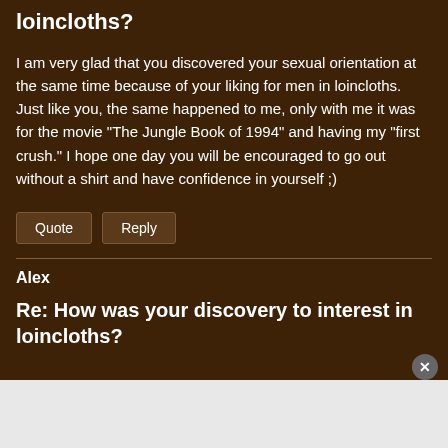loincloths?
I am very glad that you discovered your sexual orientation at the same time because of your liking for men in loincloths. Just like you, the same happened to me, only with me it was for the movie "The Jungle Book of 1994" and having my "first crush." I hope one day you will be encouraged to go out without a shirt and have confidence in yourself ;)
Quote   Reply
Alex
Re: How was your discovery to interest in loincloths?